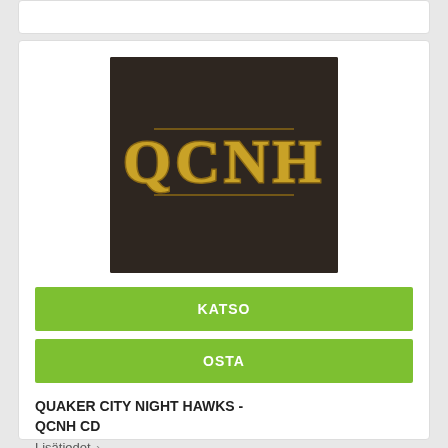[Figure (logo): Album cover for QCNH - dark brown/black background with gold ornate gothic lettering spelling QCNH]
KATSO
OSTA
QUAKER CITY NIGHT HAWKS - QCNH CD
Lisätiedot ›